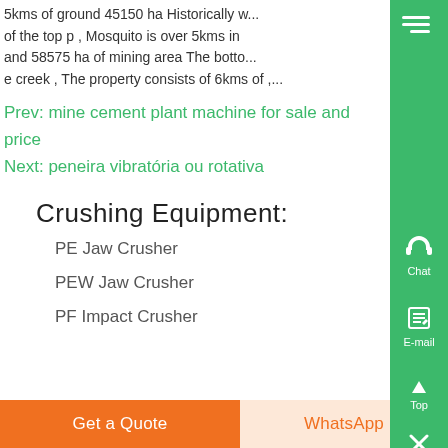5kms of ground 45150 ha Historically w... of the top p , Mosquito is over 5kms in and 58575 ha of mining area The botto... e creek , The property consists of 6kms of ,...
Prev: mine cement plant machine for sale and price
Next: peneira vibratória ou rotativa
Crushing Equipment:
PE Jaw Crusher
PEW Jaw Crusher
PF Impact Crusher
Get a Quote
WhatsApp